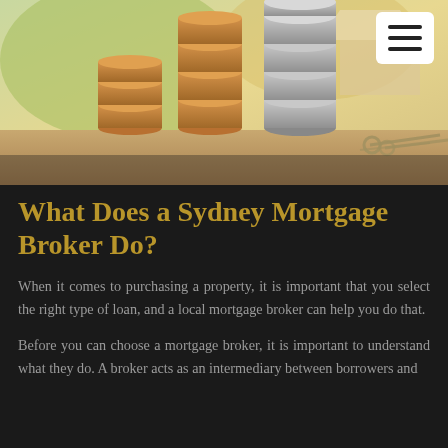[Figure (photo): Stacked coins of increasing height on a table with keys in the background, suggesting property/mortgage savings theme. Blurred green and beige background with a house shape.]
What Does a Sydney Mortgage Broker Do?
When it comes to purchasing a property, it is important that you select the right type of loan, and a local mortgage broker can help you do that.
Before you can choose a mortgage broker, it is important to understand what they do. A broker acts as an intermediary between borrowers and